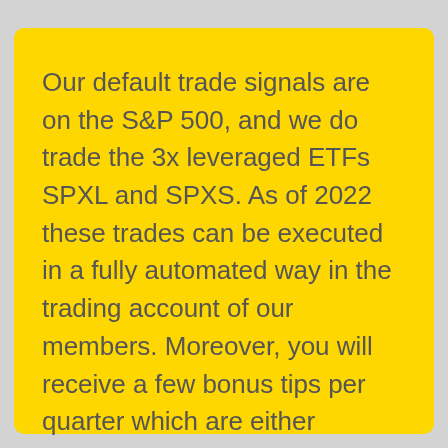Our default trade signals are on the S&P 500, and we do trade the 3x leveraged ETFs SPXL and SPXS. As of 2022 these trades can be executed in a fully automated way in the trading account of our members. Moreover, you will receive a few bonus tips per quarter which are either gold/silver or a swing trade in a particular stock.